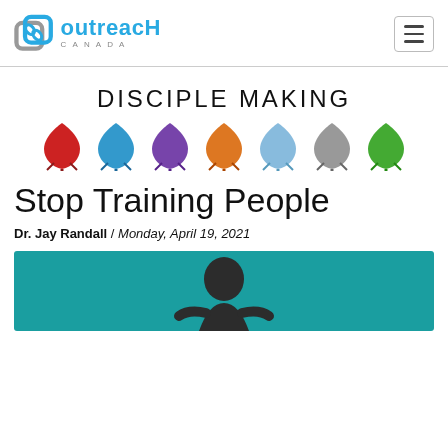Outreach Canada [logo]
DISCIPLE MAKING
[Figure (illustration): Seven maple leaf icons in a row: red, blue, purple, orange, light blue, grey, green]
Stop Training People
Dr. Jay Randall / Monday, April 19, 2021
[Figure (photo): Teal background illustration showing a person from the shoulders up]